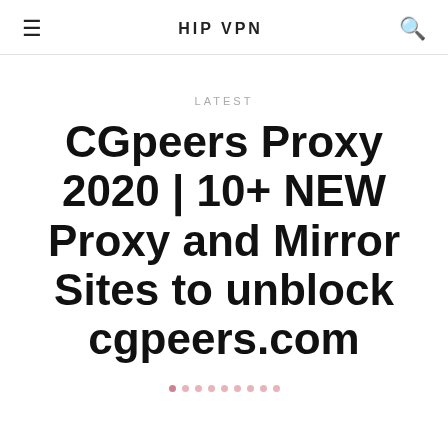HIP VPN
LATEST
CGpeers Proxy 2020 | 10+ NEW Proxy and Mirror Sites to unblock cgpeers.com